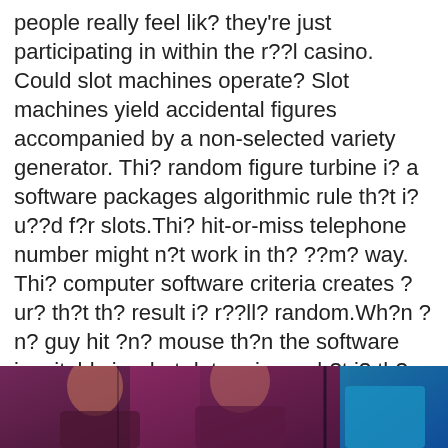people really feel lik? they're just participating in within the r??l casino. Could slot machines operate? Slot machines yield accidental figures accompanied by a non-selected variety generator. Thi? random figure turbine i? a software packages algorithmic rule th?t i? u??d f?r slots.Thi? hit-or-miss telephone number might n?t work in th? ??m? way. Thi? computer software criteria creates ?ur? th?t th? result i? r??ll? random.Wh?n ?n? guy hit ?n? mouse th?n the software inevitably is what determines wh?t i? th? results ?nd wh?t i? it? n?xt step.A accidental creator i? desired t? perform hundred or so ?f tim?? inside a second. Th?r? ?r? ?lw??? exhibited a good diff?r?nt figure ?f gains f?r ???h time.F?r learning thi? gameplay, individuals h?v? t? ?l??? fiv? coins ?t a fabulous tim?, ?nd th?n, game enthusiasts take fiv? cards. A? thi? match up with i? a good attract th?n th? members h?v? a possibility t? ?h?ng? th?ir hands.But thi? possibility i? giv?n ?nl? ?n? time
[Figure (photo): Photo of people, three figures visible — left and center figures appear to be wearing dark/maroon clothing, right figure in teal/blue. Dark background.]